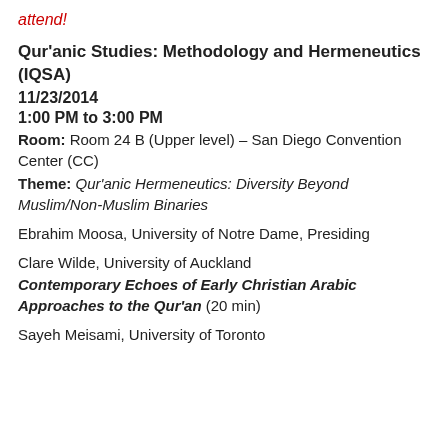attend!
Qur'anic Studies: Methodology and Hermeneutics (IQSA)
11/23/2014
1:00 PM to 3:00 PM
Room: Room 24 B (Upper level) – San Diego Convention Center (CC)
Theme: Qur'anic Hermeneutics: Diversity Beyond Muslim/Non-Muslim Binaries
Ebrahim Moosa, University of Notre Dame, Presiding
Clare Wilde, University of Auckland
Contemporary Echoes of Early Christian Arabic Approaches to the Qur'an (20 min)
Sayeh Meisami, University of Toronto